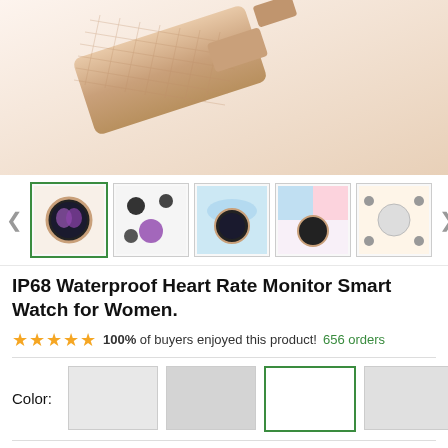[Figure (photo): Close-up product photo of a rose gold mesh band smart watch, showing the watch strap and partial watch face from above on white background]
[Figure (photo): Thumbnail gallery row with 5 product images of smart watch: first selected with green border showing full rose gold watch, second showing watch details and butterfly icons, third showing watch underwater/water splash, fourth showing watch with colorful background, fifth showing watch features diagram]
IP68 Waterproof Heart Rate Monitor Smart Watch for Women.
100% of buyers enjoyed this product! 656 orders
Color:
List price: US $162.13